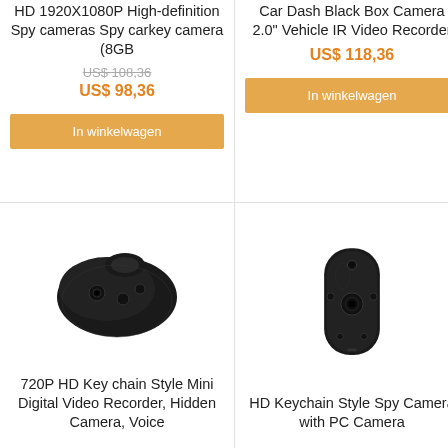HD 1920X1080P High-definition Spy cameras Spy carkey camera (8GB
US$ 108,36 (strikethrough)
US$ 98,36
In winkelwagen
Car Dash Black Box Camera 2.0" Vehicle IR Video Recorder
US$ 118,36
In winkelwagen
[Figure (photo): Black keychain-style spy camera device, oval shape with buttons, photographed on white background]
720P HD Key chain Style Mini Digital Video Recorder, Hidden Camera, Voice
[Figure (photo): Black keychain-style HD spy camera, rounded rectangular shape with holes, photographed on white background]
HD Keychain Style Spy Camera with PC Camera